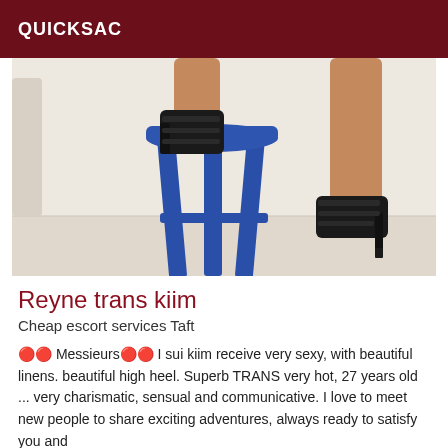QUICKSAC
[Figure (photo): Photo showing legs of a person wearing black high heel shoes, seated on a blue stool, taken from mid-thigh down against a light-colored background.]
Reyne trans kiim
Cheap escort services Taft
🔴🔴 Messieurs🔴🔴 I sui kiim receive very sexy, with beautiful linens. beautiful high heel. Superb TRANS very hot, 27 years old ... very charismatic, sensual and communicative. I love to meet new people to share exciting adventures, always ready to satisfy you and